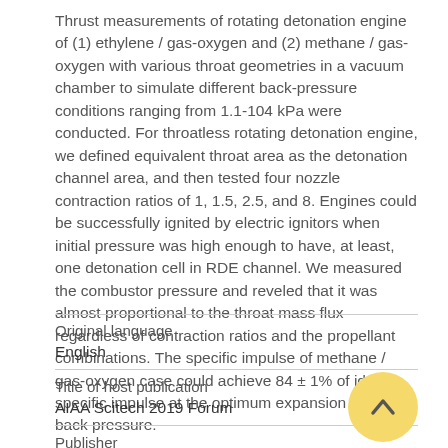Thrust measurements of rotating detonation engine of (1) ethylene / gas-oxygen and (2) methane / gas-oxygen with various throat geometries in a vacuum chamber to simulate different back-pressure conditions ranging from 1.1-104 kPa were conducted. For throatless rotating detonation engine, we defined equivalent throat area as the detonation channel area, and then tested four nozzle contraction ratios of 1, 1.5, 2.5, and 8. Engines could be successfully ignited by electric ignitors when initial pressure was high enough to have, at least, one detonation cell in RDE channel. We measured the combustor pressure and reveled that it was almost proportional to the throat mass flux regardless of contraction ratios and the propellant combinations. The specific impulse of methane / gas-oxygen case could achieve 84 ± 1% of ideal specific impulse at the optimum expansion for each back pressure.
| Field | Value |
| --- | --- |
| Original language | English |
| Title of host publication | AIAA Scitech 2019 Forum |
| Publisher | American Institute of Aeronautics and |